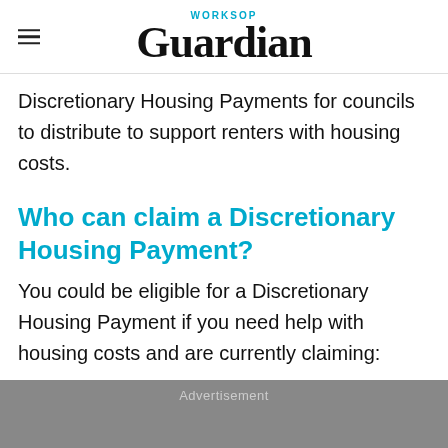Worksop Guardian
Discretionary Housing Payments for councils to distribute to support renters with housing costs.
Who can claim a Discretionary Housing Payment?
You could be eligible for a Discretionary Housing Payment if you need help with housing costs and are currently claiming:
Advertisement